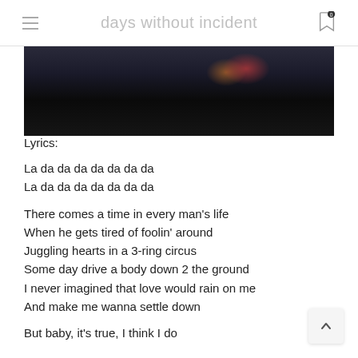days without incident
[Figure (photo): Dark photo strip showing partially visible figures against a very dark background with faint red/orange color blur]
Lyrics:
La da da da da da da da
La da da da da da da da

There comes a time in every man's life
When he gets tired of foolin' around
Juggling hearts in a 3-ring circus
Some day drive a body down 2 the ground
I never imagined that love would rain on me
And make me wanna settle down

But baby, it's true, I think I do